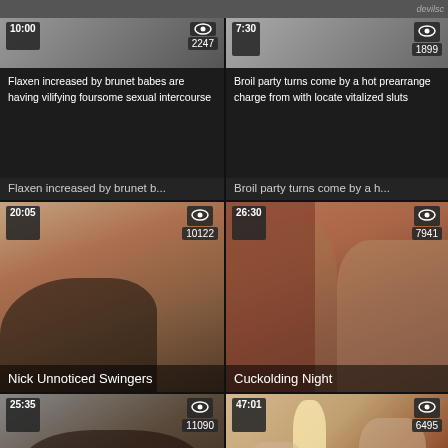[Figure (screenshot): Video thumbnail grid - top strip partial image]
[Figure (screenshot): Card 1: Flaxen increased by brunet b... - duration 10:00, views 2247, dark background with text overlay]
[Figure (screenshot): Card 2: Broil party turns come by a h... - duration 7:30, views 1899, dark background with text overlay]
[Figure (screenshot): Card 3: Nick Unnoticed Swingers - duration 20:05, views 10122, video thumbnail]
[Figure (screenshot): Card 4: Cuckolding Night - duration 26:30, views 7941, video thumbnail]
[Figure (screenshot): Card 5: bottom left - duration 25:35, views 11090, video thumbnail]
[Figure (screenshot): Card 6: bottom right - duration 47:01, views 6495, video thumbnail]